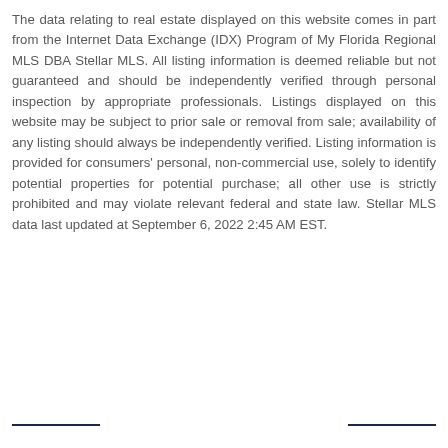The data relating to real estate displayed on this website comes in part from the Internet Data Exchange (IDX) Program of My Florida Regional MLS DBA Stellar MLS. All listing information is deemed reliable but not guaranteed and should be independently verified through personal inspection by appropriate professionals. Listings displayed on this website may be subject to prior sale or removal from sale; availability of any listing should always be independently verified. Listing information is provided for consumers' personal, non-commercial use, solely to identify potential properties for potential purchase; all other use is strictly prohibited and may violate relevant federal and state law. Stellar MLS data last updated at September 6, 2022 2:45 AM EST.